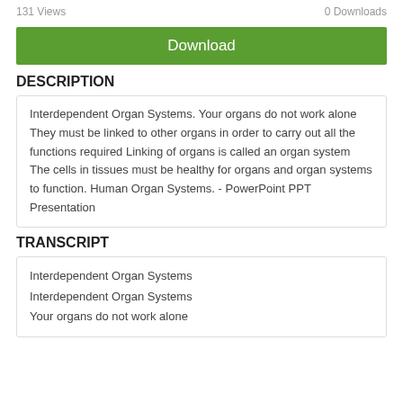131 Views   0 Downloads
Download
DESCRIPTION
Interdependent Organ Systems. Your organs do not work alone They must be linked to other organs in order to carry out all the functions required Linking of organs is called an organ system The cells in tissues must be healthy for organs and organ systems to function. Human Organ Systems. - PowerPoint PPT Presentation
TRANSCRIPT
Interdependent Organ Systems
Interdependent Organ Systems
Your organs do not work alone